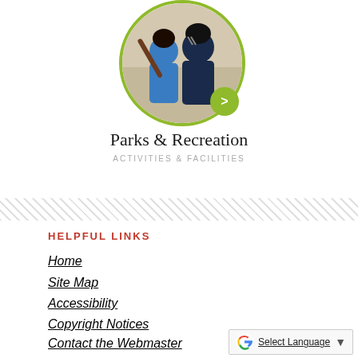[Figure (photo): Circular photo showing two people playing baseball, one swinging a bat, with a green circular border and a green arrow button overlay]
Parks & Recreation
ACTIVITIES & FACILITIES
HELPFUL LINKS
Home
Site Map
Accessibility
Copyright Notices
Contact the Webmaster
[Figure (logo): Google Translate widget with Google G logo, 'Select Language' text underlined, and a dropdown arrow]